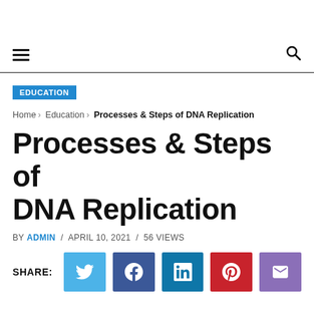Navigation bar with hamburger menu and search icon
EDUCATION
Home › Education › Processes & Steps of DNA Replication
Processes & Steps of DNA Replication
BY ADMIN / APRIL 10, 2021 / 56 VIEWS
SHARE: [Twitter] [Facebook] [LinkedIn] [Pinterest] [Email]